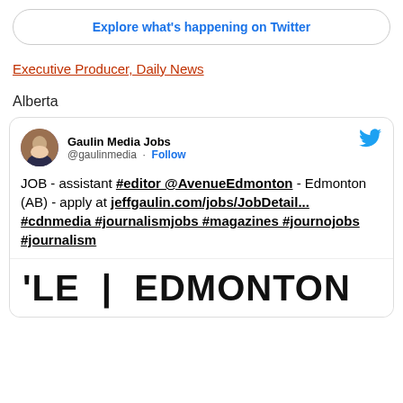[Figure (screenshot): Button with text 'Explore what's happening on Twitter' in blue bold text inside a rounded rectangle border]
Executive Producer, Daily News
Alberta
[Figure (screenshot): Tweet from @gaulinmedia (Gaulin Media Jobs) with Follow link: JOB - assistant #editor @AvenueEdmonton - Edmonton (AB) - apply at jeffgaulin.com/jobs/JobDetail... #cdnmedia #journalismjobs #magazines #journojobs #journalism, with 'LE | EDMONTON' image banner at bottom]